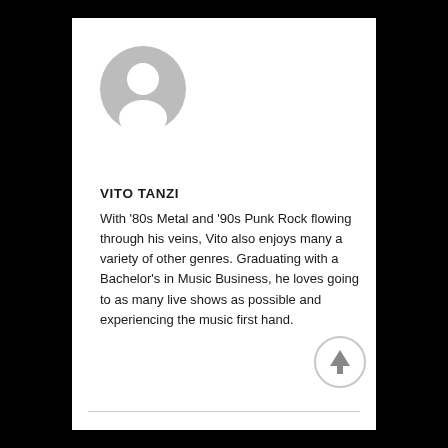[Figure (illustration): Generic gray user/profile avatar icon (circle with silhouette of head and shoulders)]
VITO TANZI
With '80s Metal and '90s Punk Rock flowing through his veins, Vito also enjoys many a variety of other genres. Graduating with a Bachelor's in Music Business, he loves going to as many live shows as possible and experiencing the music first hand.
[Figure (illustration): Light gray circular back-to-top arrow button in bottom right corner]